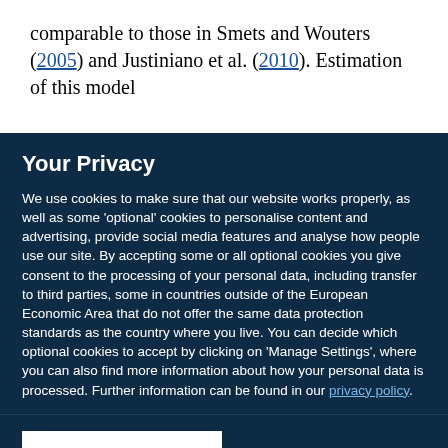comparable to those in Smets and Wouters (2005) and Justiniano et al. (2010). Estimation of this model
Your Privacy
We use cookies to make sure that our website works properly, as well as some 'optional' cookies to personalise content and advertising, provide social media features and analyse how people use our site. By accepting some or all optional cookies you give consent to the processing of your personal data, including transfer to third parties, some in countries outside of the European Economic Area that do not offer the same data protection standards as the country where you live. You can decide which optional cookies to accept by clicking on 'Manage Settings', where you can also find more information about how your personal data is processed. Further information can be found in our privacy policy.
Accept all cookies
Manage preferences